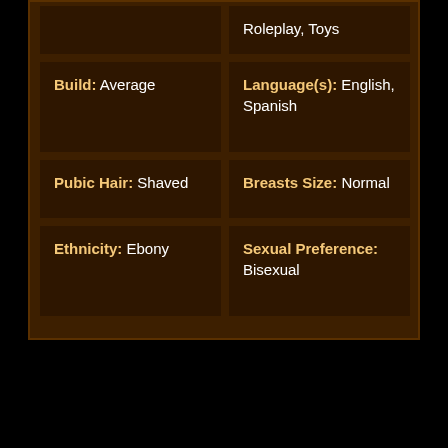Roleplay, Toys
Build: Average
Language(s): English, Spanish
Pubic Hair: Shaved
Breasts Size: Normal
Ethnicity: Ebony
Sexual Preference: Bisexual